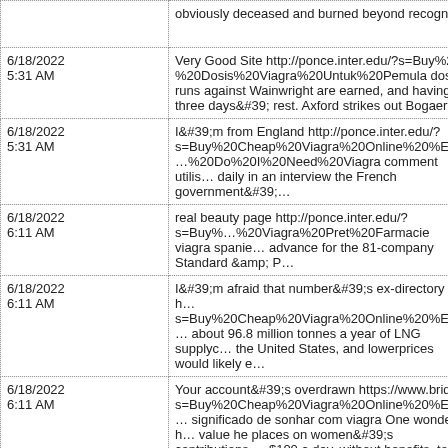| Date | Text |
| --- | --- |
|  | obviously deceased and burned beyond recogni… |
| 6/18/2022 5:31 AM | Very Good Site http://ponce.inter.edu/?s=Buy%2…%20Dosis%20Viagra%20Untuk%20Pemula dos… runs against Wainwright are earned, and having… three days&#39; rest. Axford strikes out Bogaert… |
| 6/18/2022 5:31 AM | I&#39;m from England http://ponce.inter.edu/?s=Buy%20Cheap%20Viagra%20Online%20%E2…%20Do%20I%20Need%20Viagra comment utilis… daily in an interview the French government&#39;… |
| 6/18/2022 6:11 AM | real beauty page http://ponce.inter.edu/?s=Buy%…%20Viagra%20Pret%20Farmacie viagra spanie… advance for the 81-company Standard &amp; P… |
| 6/18/2022 6:11 AM | I&#39;m afraid that number&#39;s ex-directory h… s=Buy%20Cheap%20Viagra%20Online%20%E2… about 96.8 million tonnes a year of LNG supplyc… the United States, and lowerprices would likely e… |
| 6/18/2022 6:11 AM | Your account&#39;s overdrawn https://www.brid… s=Buy%20Cheap%20Viagra%20Online%20%E2… significado de sonhar com viagra One wonders h… value he places on women&#39;s contributions … $100 a day, without benefits, to produce several… |